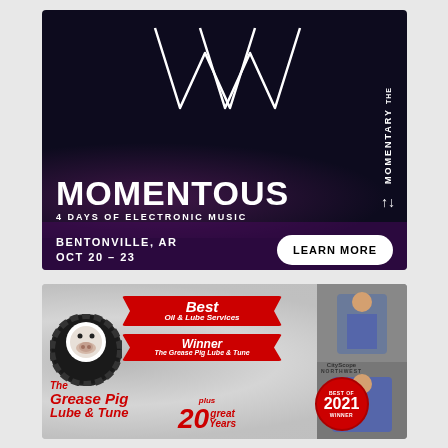[Figure (illustration): Momentous music festival advertisement. Black background with white geometric crown/star logo lines. Text: MOMENTOUS - 4 DAYS OF ELECTRONIC MUSIC. BENTONVILLE, AR. OCT 20-23. LEARN MORE button. THE MOMENTARY branding on right side.]
[Figure (illustration): The Grease Pig Lube & Tune advertisement. Best Oil & Lube Services Winner ribbon. Plus 20 Great Years badge. Best of 2021 Winner badge. Photos of mechanics. Swirly metallic background.]